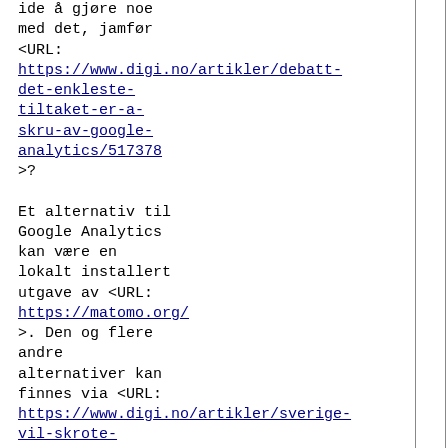ide å gjøre noe med det, jamfør <URL: https://www.digi.no/artikler/debatt-det-enkleste-tiltaket-er-a-skru-av-google-analytics/517378 >?

Et alternativ til Google Analytics kan være en lokalt installert utgave av <URL: https://matomo.org/ >. Den og flere andre alternativer kan finnes via <URL: https://www.digi.no/artikler/sverige-vil-skrote-amerikansk-skytjeneste-her-er-alternativene/516223?key=5QsV0wRG > på bakgrunn av at svenske myndigheter har